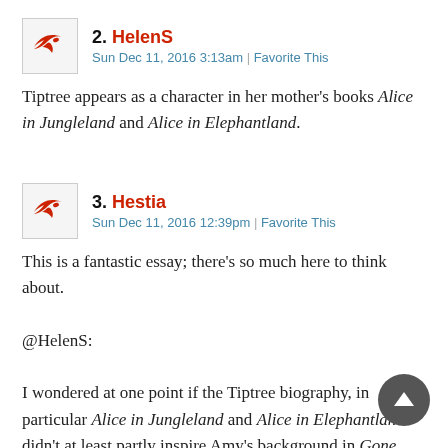2. HelenS
Sun Dec 11, 2016 3:13am | Favorite This
Tiptree appears as a character in her mother's books Alice in Jungleland and Alice in Elephantland.
3. Hestia
Sun Dec 11, 2016 12:39pm | Favorite This
This is a fantastic essay; there's so much here to think about.

@HelenS:

I wondered at one point if the Tiptree biography, in particular Alice in Jungleland and Alice in Elephantland. didn't at least partly inspire Amy's background in Gone